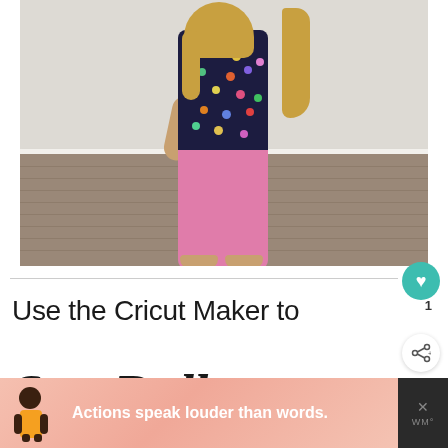[Figure (photo): A doll wearing a dark navy polka-dot top and pink pants, standing against a white baseboard and grey wood-plank floor.]
Use the Cricut Maker to
Sew Doll Clothes
[Figure (infographic): Advertisement banner: 'Actions speak louder than words.' with an illustrated figure on a pink/coral background.]